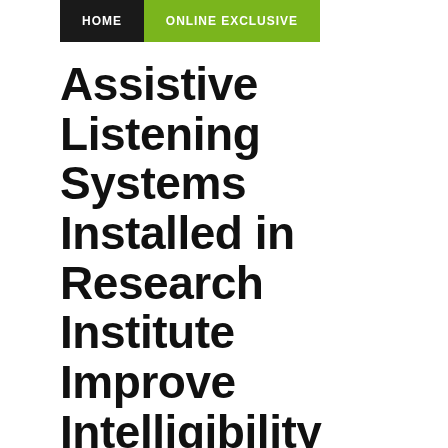HOME | ONLINE EXCLUSIVE
Assistive Listening Systems Installed in Research Institute Improve Intelligibility
TOPICS: Assistive Listening  Attenuation  Clarity  Ctsi  Hearing  Intelligibility  Listen Technologies  Listenloop  National Institute On Deafness And Other Communication Disorders  National Institutes Of Health  Nidcd  Nih  Noise  Sound